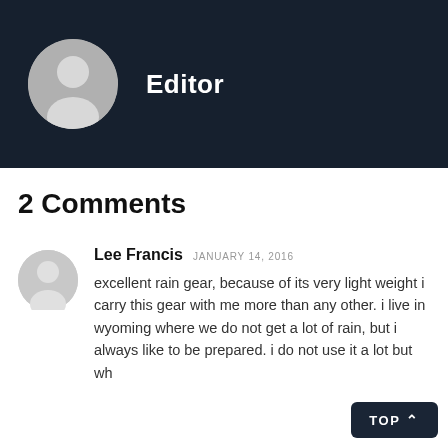[Figure (illustration): Dark navy header banner with a circular grey avatar/person silhouette icon on the left and the text 'Editor' in bold white to the right.]
2 Comments
Lee Francis  JANUARY 14, 2016
excellent rain gear, because of its very light weight i carry this gear with me more than any other. i live in wyoming where we do not get a lot of rain, but i always like to be prepared. i do not use it a lot but wh...